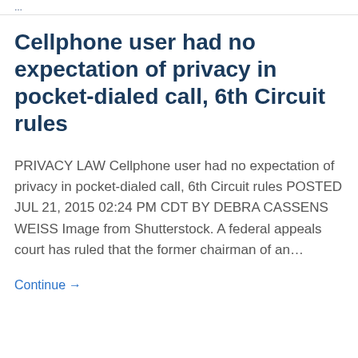… bar/link/navigation area at top
Cellphone user had no expectation of privacy in pocket-dialed call, 6th Circuit rules
PRIVACY LAW Cellphone user had no expectation of privacy in pocket-dialed call, 6th Circuit rules POSTED JUL 21, 2015 02:24 PM CDT BY DEBRA CASSENS WEISS Image from Shutterstock. A federal appeals court has ruled that the former chairman of an…
Continue →